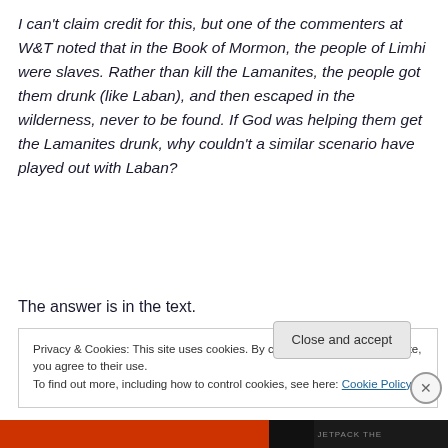I can't claim credit for this, but one of the commenters at W&T noted that in the Book of Mormon, the people of Limhi were slaves. Rather than kill the Lamanites, the people got them drunk (like Laban), and then escaped in the wilderness, never to be found. If God was helping them get the Lamanites drunk, why couldn't a similar scenario have played out with Laban?
The answer is in the text.
Privacy & Cookies: This site uses cookies. By continuing to use this website, you agree to their use.
To find out more, including how to control cookies, see here: Cookie Policy